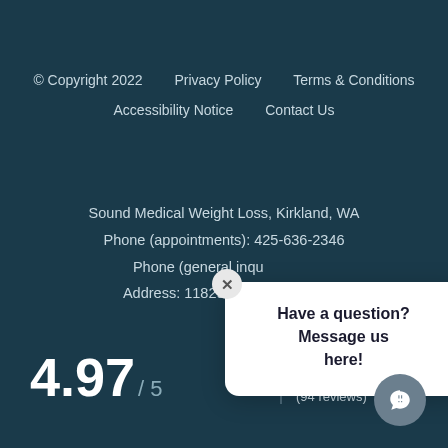© Copyright 2022    Privacy Policy    Terms & Conditions    Accessibility Notice    Contact Us
Sound Medical Weight Loss, Kirkland, WA
Phone (appointments): 425-636-2346
Phone (general inqu...)
Address: 11829 98th Avenu...
4.97 / 5  ★★★★★  (94 reviews)
[Figure (other): Chat popup overlay with close button (×) and text 'Have a question? Message us here!' over a white rounded card, plus a circular chat icon button in the bottom right corner]